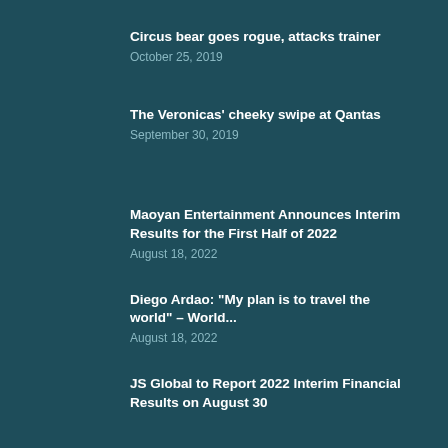Circus bear goes rogue, attacks trainer
October 25, 2019
The Veronicas’ cheeky swipe at Qantas
September 30, 2019
Maoyan Entertainment Announces Interim Results for the First Half of 2022
August 18, 2022
Diego Ardao: “My plan is to travel the world” – World...
August 18, 2022
JS Global to Report 2022 Interim Financial Results on August 30